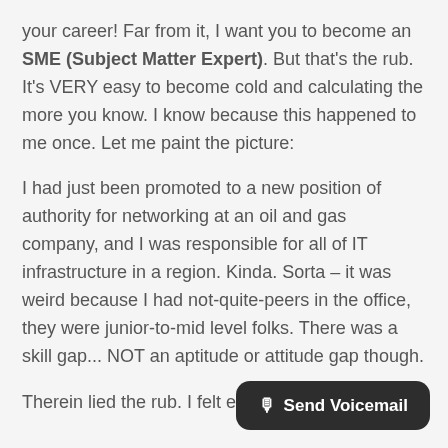your career!  Far from it, I want you to become an SME (Subject Matter Expert).  But that's the rub.  It's VERY easy to become cold and calculating the more you know.  I know because this happened to me once.  Let me paint the picture:
I had just been promoted to a new position of authority for networking at an oil and gas company, and I was responsible for all of IT infrastructure in a region.  Kinda.  Sorta – it was weird because I had not-quite-peers in the office, they were junior-to-mid level folks.  There was a skill gap... NOT an aptitude or attitude gap though.
Therein lied the rub.  I felt eve... superior to my hard working really smart peers